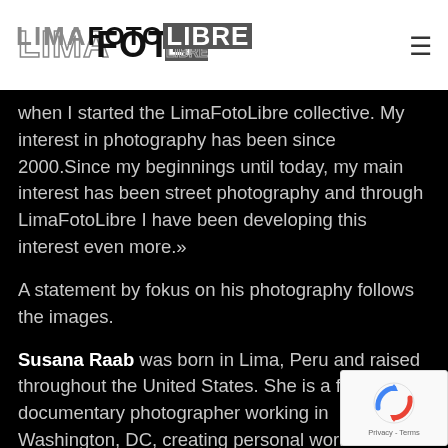[Figure (logo): LimaFotoLibre logo in gray/dark text on white background header]
when I started the LimaFotoLibre collective. My interest in photography has been since 2000.Since my beginnings until today, my main interest has been street photography and through LimaFotoLibre I have been developing this interest even more.»
A statement by fokus on his photography follows the images.
Susana Raab was born in Lima, Peru and raised throughout the United States. She is a fine-art and documentary photographer working in Washington, DC, creating personal work in addition to working as the photographer of the Smithsonian Anacostia Community Museum, documenting the